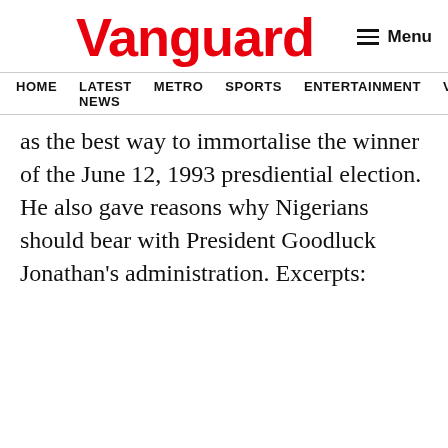Vanguard
HOME LATEST NEWS METRO SPORTS ENTERTAINMENT VIDEOS
as the best way to immortalise the winner of the June 12, 1993 presdiential election. He also gave reasons why Nigerians should bear with President Goodluck Jonathan's administration. Excerpts: